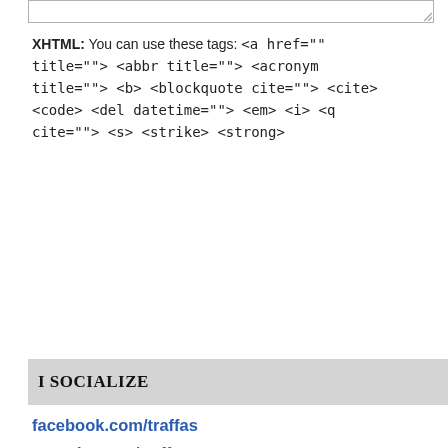[Figure (screenshot): Textarea input box with resize handle in bottom-right corner]
XHTML: You can use these tags: <a href="" title=""> <abbr title=""> <acronym title=""> <b> <blockquote cite=""> <cite> <code> <del datetime=""> <em> <i> <q cite=""> <s> <strike> <strong>
[Figure (screenshot): Submit Comment button in blue]
I SOCIALIZE
facebook.com/traffas
youtube.com/traffas
auctioneertech.com
aarontraffasband.com